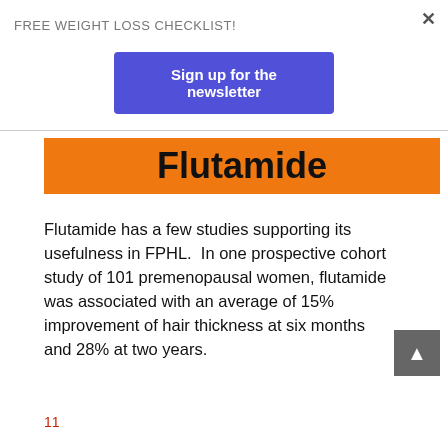FREE WEIGHT LOSS CHECKLIST!
Sign up for the newsletter
Flutamide
Flutamide has a few studies supporting its usefulness in FPHL.  In one prospective cohort study of 101 premenopausal women, flutamide was associated with an average of 15% improvement of hair thickness at six months and 28% at two years.
11